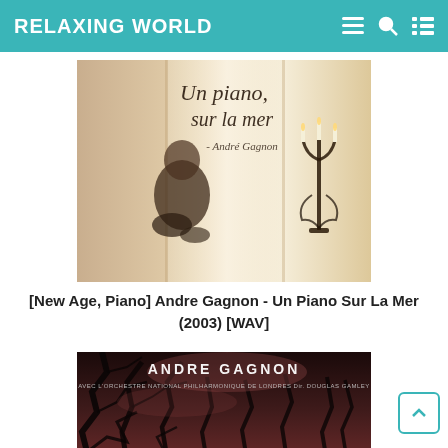RELAXING WORLD
[Figure (photo): Album cover of Andre Gagnon - Un Piano Sur La Mer (2003). Shows a man sitting by a window with sheer curtains and a candelabra. Title text in cursive reads 'Un piano sur la mer - Andre Gagnon'.]
[New Age, Piano] Andre Gagnon - Un Piano Sur La Mer (2003) [WAV]
[Figure (photo): Album cover of Andre Gagnon showing dark tree branches against a reddish-pink sky. Text reads 'ANDRE GAGNON' with subtitle mentioning Orchestre National Philharmonique de Londres and Douglas Gamley. Partially visible title at bottom: Impressions.]